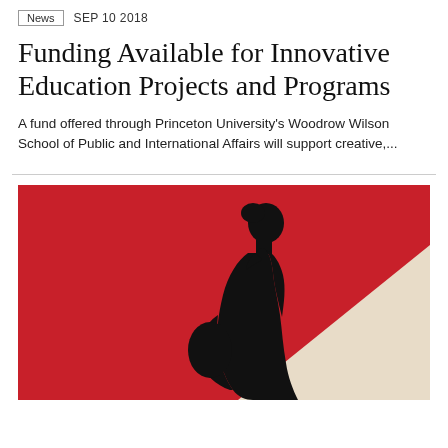News  SEP 10 2018
Funding Available for Innovative Education Projects and Programs
A fund offered through Princeton University's Woodrow Wilson School of Public and International Affairs will support creative,...
[Figure (illustration): Silhouette of a pregnant woman with head bowed, black figure against a red and off-white geometric background]